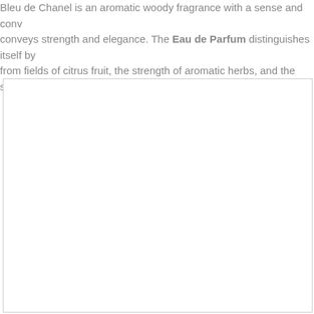Bleu de Chanel is an aromatic woody fragrance with a sense and conviction that conveys strength and elegance. The Eau de Parfum distinguishes itself by from fields of citrus fruit, the strength of aromatic herbs, and the sensuality of d
[Figure (photo): A large white/blank rectangular image placeholder with a light gray border.]